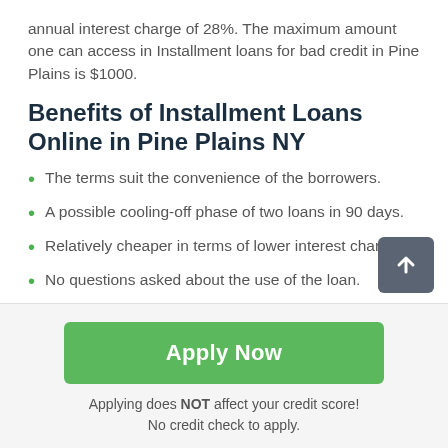annual interest charge of 28%. The maximum amount one can access in Installment loans for bad credit in Pine Plains is $1000.
Benefits of Installment Loans Online in Pine Plains NY
The terms suit the convenience of the borrowers.
A possible cooling-off phase of two loans in 90 days.
Relatively cheaper in terms of lower interest charges.
No questions asked about the use of the loan.
Apply Now
Applying does NOT affect your credit score!
No credit check to apply.